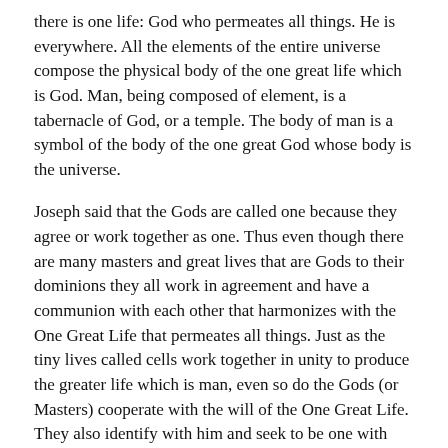there is one life: God who permeates all things. He is everywhere. All the elements of the entire universe compose the physical body of the one great life which is God. Man, being composed of element, is a tabernacle of God, or a temple. The body of man is a symbol of the body of the one great God whose body is the universe.
Joseph said that the Gods are called one because they agree or work together as one. Thus even though there are many masters and great lives that are Gods to their dominions they all work in agreement and have a communion with each other that harmonizes with the One Great Life that permeates all things. Just as the tiny lives called cells work together in unity to produce the greater life which is man, even so do the Gods (or Masters) cooperate with the will of the One Great Life. They also identify with him and seek to be one with him.
THE HIERARCHY OF GODS